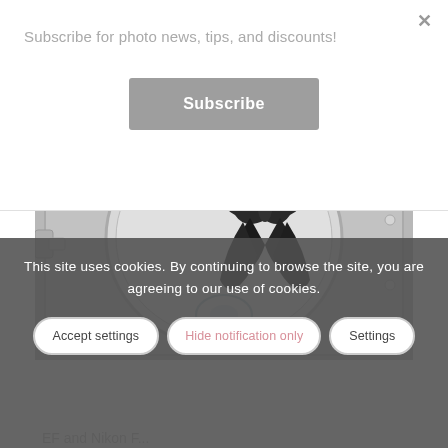Subscribe for photo news, tips, and discounts!
Subscribe
[Figure (photo): Grayscale photo of a camera filter holder with a butterfly/floral decoration image visible through the round lens opening. The device appears to be a square filter system holder, metal-colored, photographed from above.]
This site uses cookies. By continuing to browse the site, you are agreeing to our use of cookies.
Accept settings
Hide notification only
Settings
EF and Nikon F...